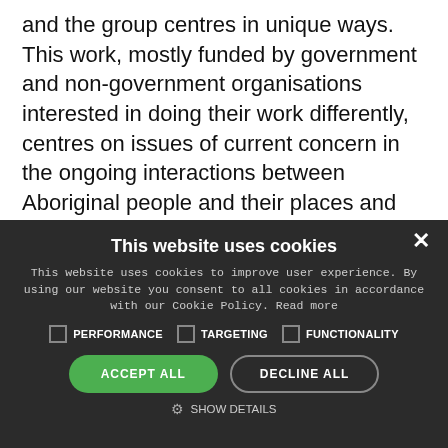and the group centres in unique ways. This work, mostly funded by government and non-government organisations interested in doing their work differently, centres on issues of current concern in the ongoing interactions between Aboriginal people and their places and communities, and the non-Indigenous organisations and agencies with which they engage.
Our scholarship takes seriously a metaphysics of emergence
[Figure (screenshot): Cookie consent modal with dark background. Title: 'This website uses cookies'. Body text about cookie policy. Three checkboxes: PERFORMANCE, TARGETING, FUNCTIONALITY. Two buttons: ACCEPT ALL (green) and DECLINE ALL (outlined). Show Details option at bottom with gear icon. Close X button top right.]